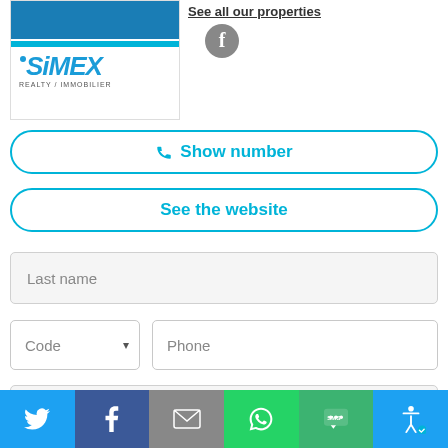[Figure (logo): SIMEX Realty / Immobilier logo with blue top bar and cyan accent line]
See all our properties
[Figure (logo): Facebook circle icon in grey]
Show number
See the website
Last name
Code
Phone
E-mail
[Figure (infographic): Bottom social sharing bar with Twitter, Facebook, Email, WhatsApp, SMS, and accessibility icons]